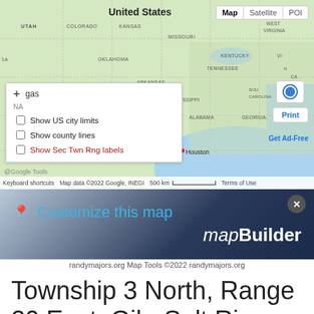[Figure (map): Google Maps screenshot showing United States map with overlay panel showing checkboxes: 'Show US city limits', 'Show county lines', 'Show Sec Twn Rng labels' (in red). Map controls show Map/Satellite/POI buttons. Bottom bar shows Keyboard shortcuts, Map data ©2022 Google INEGI, 500 km scale bar, Terms of Use.]
[Figure (screenshot): mapBuilder banner with blue pin icon, 'Customize this map' in blue text, 'mapBuilder' in white italic/bold text, and a close (X) button.]
randymajors.org Map Tools ©2022 randymajors.org
Township 3 North, Range 20 East, Gila-Salt River Principal Meridian,